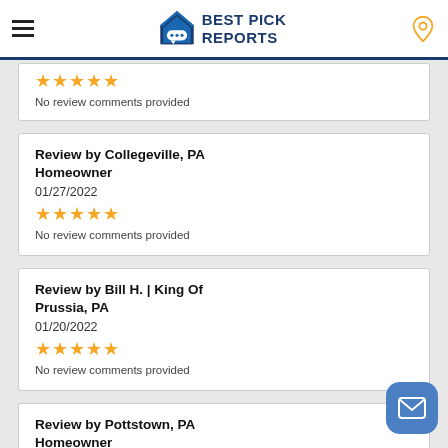Best Pick Reports
★★★★★ No review comments provided
Review by Collegeville, PA Homeowner
01/27/2022
★★★★★ No review comments provided
Review by Bill H. | King Of Prussia, PA
01/20/2022
★★★★★ No review comments provided
Review by Pottstown, PA Homeowner